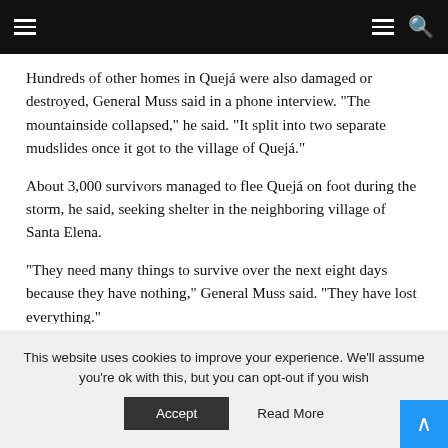Navigation bar with hamburger menu and search icon
Hundreds of other homes in Quejá were also damaged or destroyed, General Muss said in a phone interview. “The mountainside collapsed,” he said. “It split into two separate mudslides once it got to the village of Quejá.”
About 3,000 survivors managed to flee Quejá on foot during the storm, he said, seeking shelter in the neighboring village of Santa Elena.
“They need many things to survive over the next eight days because they have nothing,” General Muss said. “They have lost everything.”
This website uses cookies to improve your experience. We'll assume you're ok with this, but you can opt-out if you wish
Accept   Read More